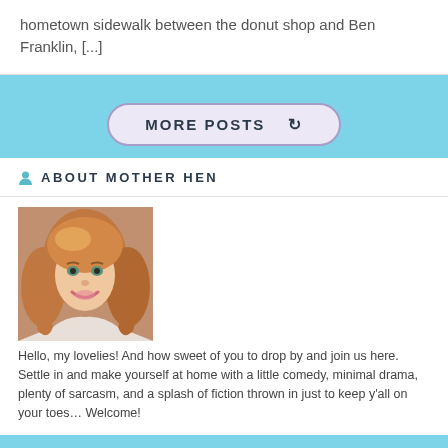hometown sidewalk between the donut shop and Ben Franklin, [...]
MORE POSTS ↻
ABOUT MOTHER HEN
[Figure (photo): Portrait photo of a woman with long reddish-blonde hair, smiling, wearing a light-colored top.]
Hello, my lovelies! And how sweet of you to drop by and join us here. Settle in and make yourself at home with a little comedy, minimal drama, plenty of sarcasm, and a splash of fiction thrown in just to keep y'all on your toes… Welcome!